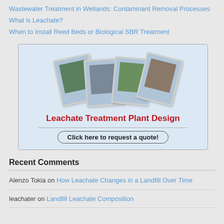Wastewater Treatment in Wetlands: Contaminant Removal Processes
What is Leachate?
When to Install Reed Beds or Biological SBR Treatment
[Figure (infographic): Advertisement banner for Leachate Treatment Plant Design with fanned polaroid-style photos of treatment facilities, bold red title text, and an oval button reading 'Click here to request a quote!']
Recent Comments
Alenzo Tokia on How Leachate Changes in a Landfill Over Time
leachater on Landfill Leachate Composition